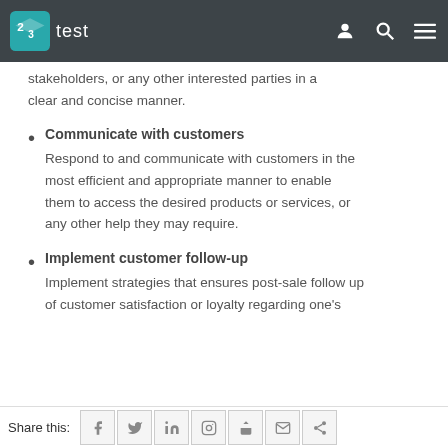test
stakeholders, or any other interested parties in a clear and concise manner.
Communicate with customers
Respond to and communicate with customers in the most efficient and appropriate manner to enable them to access the desired products or services, or any other help they may require.
Implement customer follow-up
Implement strategies that ensures post-sale follow up of customer satisfaction or loyalty regarding one's
Share this: